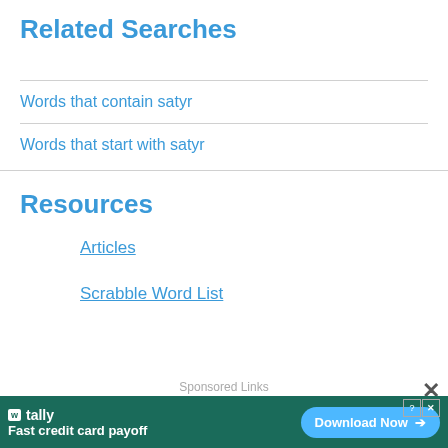Related Searches
Words that contain satyr
Words that start with satyr
Resources
Articles
Scrabble Word List
Sponsored Links
[Figure (other): Advertisement banner for Tally app: 'Fast credit card payoff' with a 'Download Now' button on a dark green background]